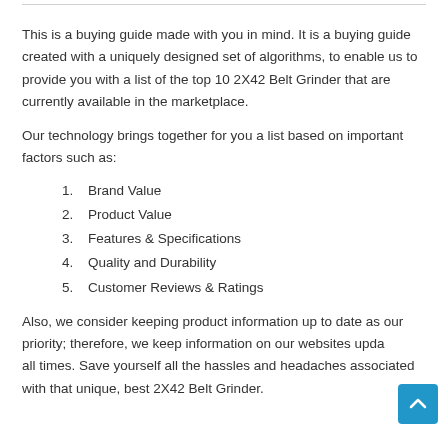This is a buying guide made with you in mind. It is a buying guide created with a uniquely designed set of algorithms, to enable us to provide you with a list of the top 10 2X42 Belt Grinder that are currently available in the marketplace.
Our technology brings together for you a list based on important factors such as:
Brand Value
Product Value
Features & Specifications
Quality and Durability
Customer Reviews & Ratings
Also, we consider keeping product information up to date as our priority; therefore, we keep information on our websites updated at all times. Save yourself all the hassles and headaches associated with that unique, best 2X42 Belt Grinder.